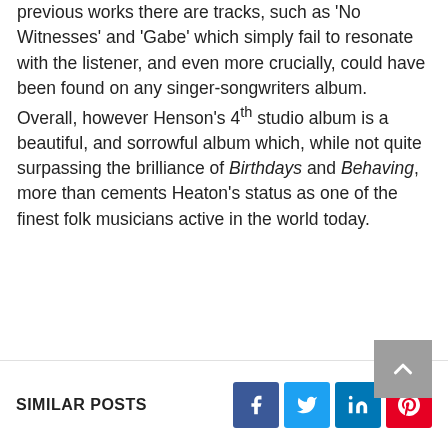previous works there are tracks, such as 'No Witnesses' and 'Gabe' which simply fail to resonate with the listener, and even more crucially, could have been found on any singer-songwriters album. Overall, however Henson's 4th studio album is a beautiful, and sorrowful album which, while not quite surpassing the brilliance of Birthdays and Behaving, more than cements Heaton's status as one of the finest folk musicians active in the world today.
SIMILAR POSTS